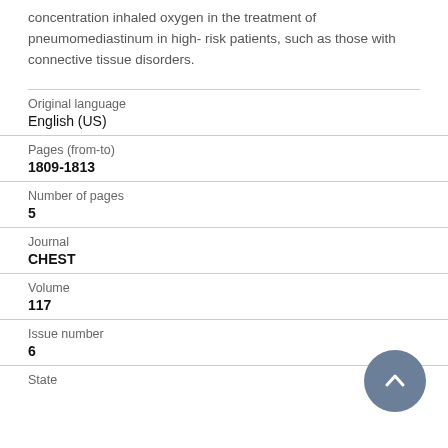concentration inhaled oxygen in the treatment of pneumomediastinum in high- risk patients, such as those with connective tissue disorders.
| Field | Value |
| --- | --- |
| Original language | English (US) |
| Pages (from-to) | 1809-1813 |
| Number of pages | 5 |
| Journal | CHEST |
| Volume | 117 |
| Issue number | 6 |
| State |  |